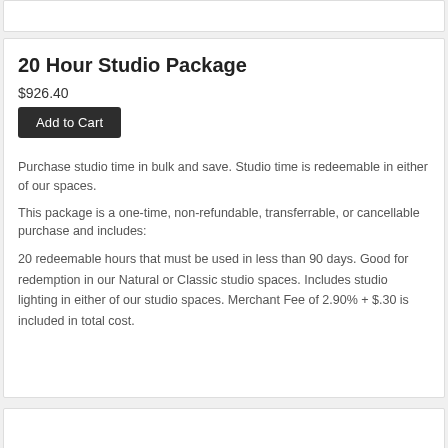20 Hour Studio Package
$926.40
Add to Cart
Purchase studio time in bulk and save. Studio time is redeemable in either of our spaces.
This package is a one-time, non-refundable, transferrable, or cancellable purchase and includes:
20 redeemable hours that must be used in less than 90 days. Good for redemption in our Natural or Classic studio spaces. Includes studio lighting in either of our studio spaces. Merchant Fee of 2.90% + $.30 is included in total cost.